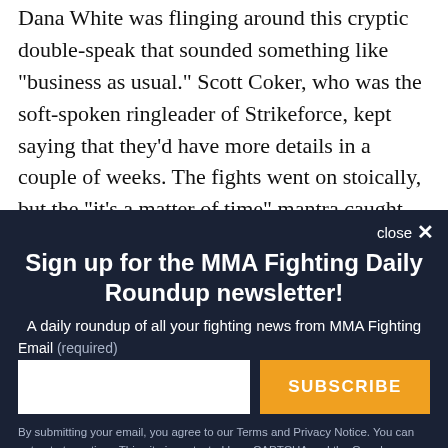Dana White was flinging around this cryptic double-speak that sounded something like "business as usual." Scott Coker, who was the soft-spoken ringleader of Strikeforce, kept saying that they'd have more details in a couple of weeks. The fights went on stoically, but the "it's a matter of time" mantra caught fire. Strikeforce with no independent future hobbled along for another 18 months, while certain
close ×
Sign up for the MMA Fighting Daily Roundup newsletter!
A daily roundup of all your fighting news from MMA Fighting
Email (required)
SUBSCRIBE
By submitting your email, you agree to our Terms and Privacy Notice. You can opt out at any time. This site is protected by reCAPTCHA and the Google Privacy Policy and Terms of Service apply.